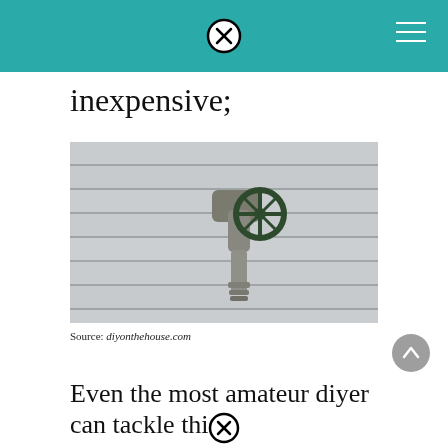inexpensive;
[Figure (photo): An outdoor water spigot / hose bib mounted on a white painted wooden siding wall. The spigot has a green wheel valve handle and a chrome threaded nozzle outlet.]
Source: diyonthehouse.com
Even the most amateur diyer can tackle this